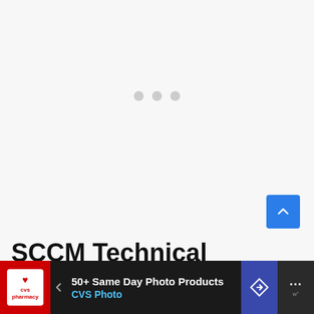[Figure (screenshot): Light gray upper area with three faint loading dots centered, representing a loading/blank content area of a webpage]
[Figure (other): Blue scroll-to-top button with upward chevron arrow, positioned at right side]
SCCM Technical Preview Build Version Numbers
[Figure (other): Dark advertisement banner at the bottom: CVS Pharmacy logo on red background, arrow navigation icon, text '50+ Same Day Photo Products' and 'CVS Photo' in blue, directions icon, and triple-dot menu icon]